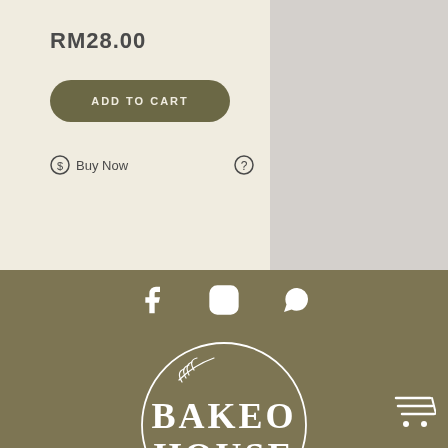RM28.00
ADD TO CART
Buy Now
[Figure (logo): Bakeo House fresh baked cookies logo — circular wreath with botanical leaf sprigs, white text on olive/khaki background]
[Figure (infographic): Social media icons: Facebook, Instagram, WhatsApp — white icons on olive background]
[Figure (other): Shopping cart icon in bottom right corner]